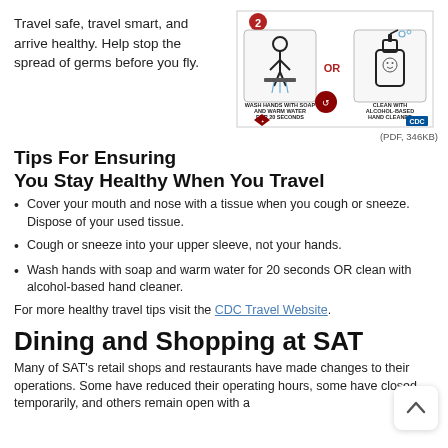Travel safe, travel smart, and arrive healthy. Help stop the spread of germs before you fly.
[Figure (infographic): Health infographic showing step 2: wash hands with soap and warm water for 20 seconds OR clean with alcohol-based hand cleaner. Includes CDC logo and Metropolitan Health District logo.]
(PDF, 346KB)
Tips For Ensuring You Stay Healthy When You Travel
Cover your mouth and nose with a tissue when you cough or sneeze. Dispose of your used tissue.
Cough or sneeze into your upper sleeve, not your hands.
Wash hands with soap and warm water for 20 seconds OR clean with alcohol-based hand cleaner.
For more healthy travel tips visit the CDC Travel Website.
Dining and Shopping at SAT
Many of SAT's retail shops and restaurants have made changes to their operations. Some have reduced their operating hours, some have closed temporarily, and others remain open with a